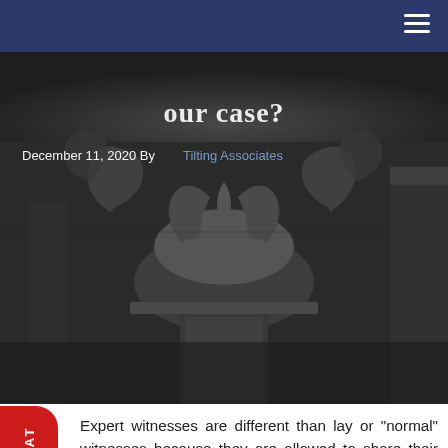[Figure (photo): Black and white photograph of ornate stone column capitals with decorative carvings, partially overlaid with white text showing a partial article title and byline]
December 11, 2020 By Tilting Associates
Expert witnesses are different than lay or “normal” witnesses because they are allowed to share their opinion on a matter. Lay witnesses are only able to testify as to what they saw or what they heard. Under the Colorado Rules of Evidence 702, Expert witnesses are defined as “A witness qualified as an expert by […]